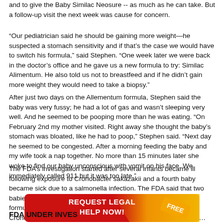and to give the Baby Similac Neosure -- as much as he can take. But a follow-up visit the next week was cause for concern.
“Our pediatrician said he should be gaining more weight—he suspected a stomach sensitivity and if that’s the case we would have to switch his formula,” said Stephen. “One week later we were back in the doctor’s office and he gave us a new formula to try: Similac Alimentum. He also told us not to breastfeed and if he didn’t gain more weight they would need to take a biopsy.”
After just two days on the Allementum formula, Stephen said the baby was very fussy; he had a lot of gas and wasn’t sleeping very well. And he seemed to be pooping more than he was eating. “On February 2nd my mother visited. Right away she thought the baby’s stomach was bloated, like he had to poop,” Stephen said. “Next day he seemed to be congested. After a morning feeding the baby and my wife took a nap together. No more than 15 minutes later she woke to find our baby unconscious with vomit on his face. We immediately called 911 but it was too late.”
The FDA’s investigation started after several infants became ill following exposure to Cronobacter sakazakii and a fourth baby became sick due to a salmonella infection. The FDA said that two babies died – all of them were fed Abbott’s Similac PM 60/40 formula. By the end of February, the agency confirmed that the Cronobacter infection “may have been a contributing cause of death.”
[Figure (other): Red and orange advertisement banner with text 'REQUEST LEGAL HELP NOW!' and 'FREE' label]
FDA UNDER INVES…